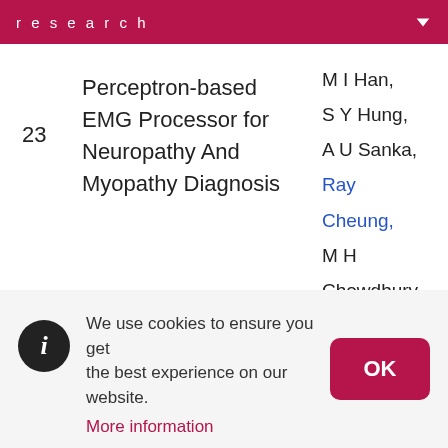research
23
Perceptron-based EMG Processor for Neuropathy And Myopathy Diagnosis
M I Han, S Y Hung, A U Sanka, Ray Cheung, M H Chowdhury
We use cookies to ensure you get the best experience on our website. More information